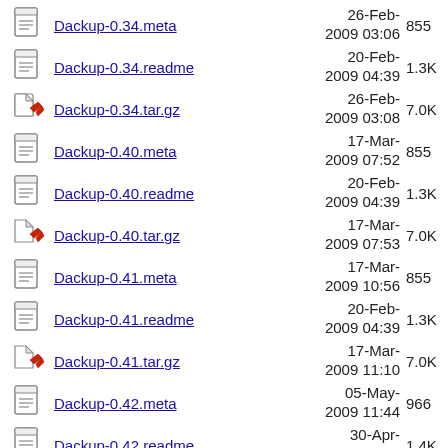Dackup-0.34.meta  26-Feb-2009 03:06  855
Dackup-0.34.readme  20-Feb-2009 04:39  1.3K
Dackup-0.34.tar.gz  26-Feb-2009 03:08  7.0K
Dackup-0.40.meta  17-Mar-2009 07:52  855
Dackup-0.40.readme  20-Feb-2009 04:39  1.3K
Dackup-0.40.tar.gz  17-Mar-2009 07:53  7.0K
Dackup-0.41.meta  17-Mar-2009 10:56  855
Dackup-0.41.readme  20-Feb-2009 04:39  1.3K
Dackup-0.41.tar.gz  17-Mar-2009 11:10  7.0K
Dackup-0.42.meta  05-May-2009 11:44  966
Dackup-0.42.readme  30-Apr-2009 11:27  1.4K